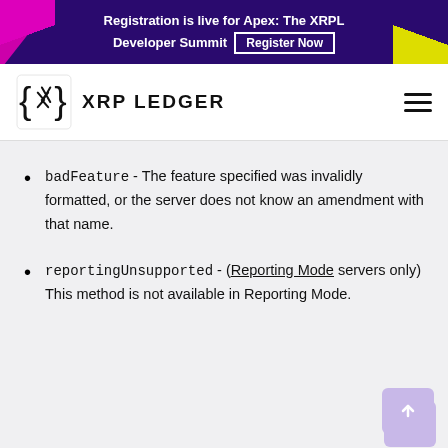Registration is live for Apex: The XRPL Developer Summit  Register Now
XRP LEDGER
badFeature - The feature specified was invalidly formatted, or the server does not know an amendment with that name.
reportingUnsupported - (Reporting Mode servers only) This method is not available in Reporting Mode.